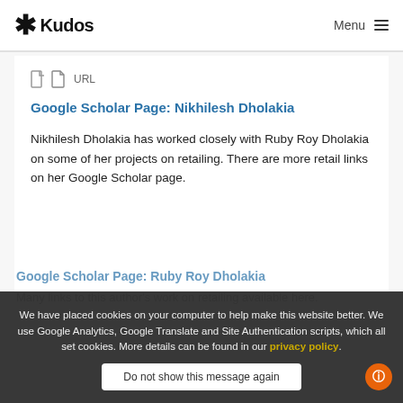* Kudos   Menu
URL
Google Scholar Page: Nikhilesh Dholakia
Nikhilesh Dholakia has worked closely with Ruby Roy Dholakia on some of her projects on retailing. There are more retail links on her Google Scholar page.
We have placed cookies on your computer to help make this website better. We use Google Analytics, Google Translate and Site Authentication scripts, which all set cookies. More details can be found in our privacy policy.
Do not show this message again